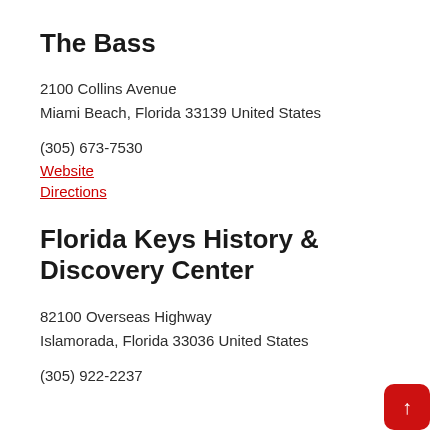The Bass
2100 Collins Avenue
Miami Beach, Florida 33139 United States
(305) 673-7530
Website
Directions
Florida Keys History & Discovery Center
82100 Overseas Highway
Islamorada, Florida 33036 United States
(305) 922-2237